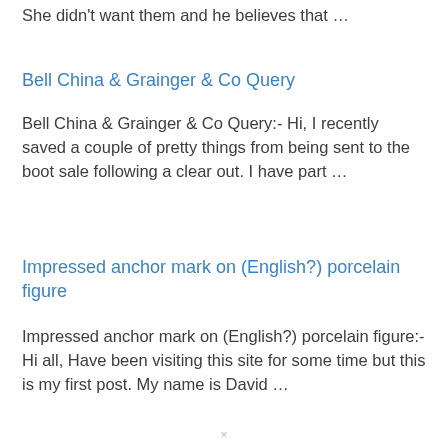She didn't want them and he believes that …
Bell China & Grainger & Co Query
Bell China & Grainger & Co Query:- Hi, I recently saved a couple of pretty things from being sent to the boot sale following a clear out. I have part …
Impressed anchor mark on (English?) porcelain figure
Impressed anchor mark on (English?) porcelain figure:- Hi all, Have been visiting this site for some time but this is my first post. My name is David …
C & W & H Pottery Mark found on the "immigrant trail" covered wagon trail over the sierras
×